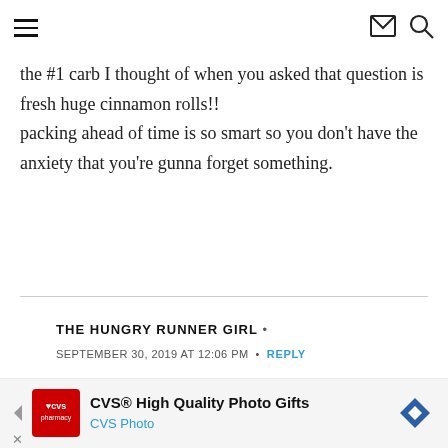Navigation header with hamburger menu, email icon, and search icon
the #1 carb I thought of when you asked that question is fresh huge cinnamon rolls!! packing ahead of time is so smart so you don't have the anxiety that you're gunna forget something.
THE HUNGRY RUNNER GIRL •
SEPTEMBER 30, 2019 AT 12:06 PM • REPLY
I'm interested to see how it all works out too! So
[Figure (infographic): CVS advertisement banner: CVS High Quality Photo Gifts - CVS Photo, with navigation arrows]